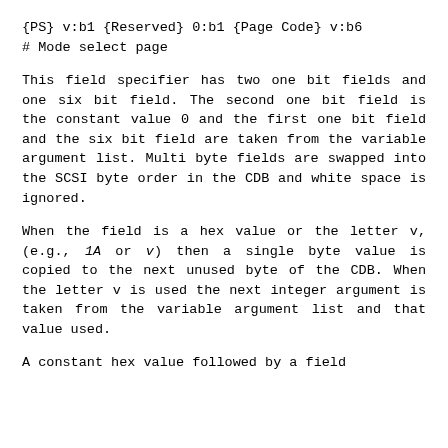{PS} v:b1 {Reserved} 0:b1 {Page Code} v:b6
# Mode select page
This field specifier has two one bit fields and one six bit field. The second one bit field is the constant value 0 and the first one bit field and the six bit field are taken from the variable argument list. Multi byte fields are swapped into the SCSI byte order in the CDB and white space is ignored.
When the field is a hex value or the letter v, (e.g., 1A or v) then a single byte value is copied to the next unused byte of the CDB. When the letter v is used the next integer argument is taken from the variable argument list and that value used.
A constant hex value followed by a field